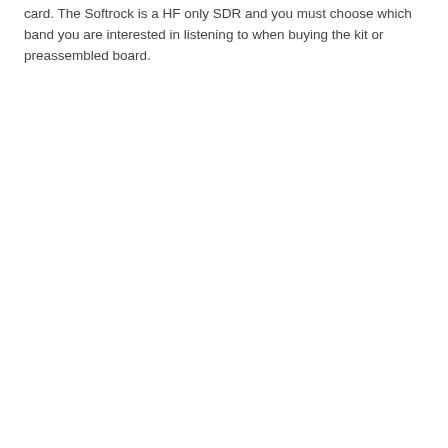card. The Softrock is a HF only SDR and you must choose which band you are interested in listening to when buying the kit or preassembled board.